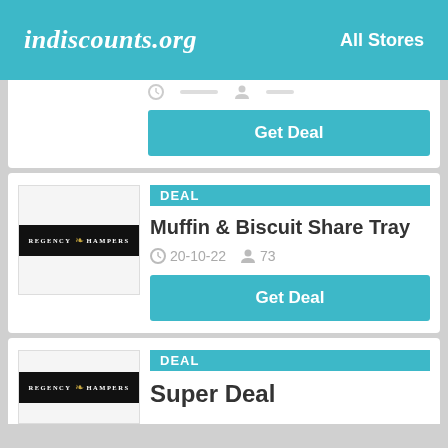indiscounts.org — All Stores
Get Deal
[Figure (logo): Regency Hampers store logo — black background with gold crest and white text reading REGENCY HAMPERS]
DEAL
Muffin & Biscuit Share Tray
20-10-22   73
Get Deal
[Figure (logo): Regency Hampers store logo — black background with gold crest and white text reading REGENCY HAMPERS]
DEAL
Super Deal